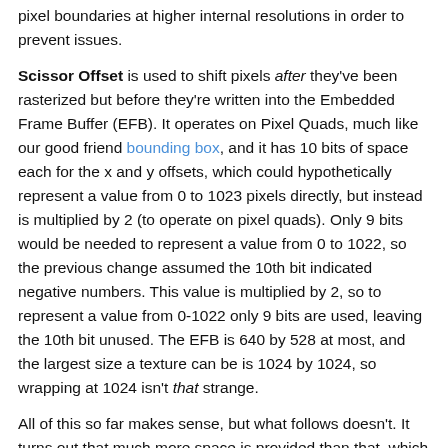pixel boundaries at higher internal resolutions in order to prevent issues.
Scissor Offset is used to shift pixels after they've been rasterized but before they're written into the Embedded Frame Buffer (EFB). It operates on Pixel Quads, much like our good friend bounding box, and it has 10 bits of space each for the x and y offsets, which could hypothetically represent a value from 0 to 1023 pixels directly, but instead is multiplied by 2 (to operate on pixel quads). Only 9 bits would be needed to represent a value from 0 to 1022, so the previous change assumed the 10th bit indicated negative numbers. This value is multiplied by 2, so to represent a value from 0-1022 only 9 bits are used, leaving the 10th bit unused. The EFB is 640 by 528 at most, and the largest size a texture can be is 1024 by 1024, so wrapping at 1024 isn't that strange.
All of this so far makes sense, but what follows doesn't. It turns out that much more space is provided than that, which can result in a triangle drawing over itself in a large enough viewport. We don't know of any games that do this, but it's apparently possible with fringe configurations. If you care about all of the hardware testing and strange behaviors, Pokechu22 documented the details of their hardware tests in copious detail.